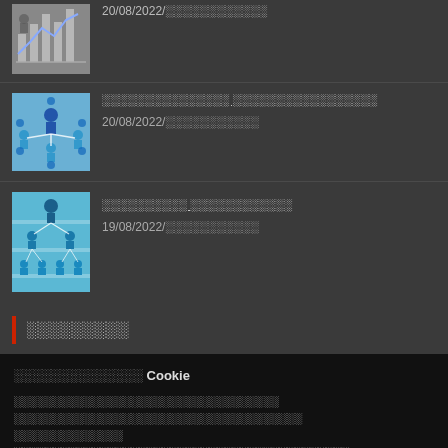20/08/2022/░░░░░░░░░░░░
░░░░░░░░░░░░░░░ ░░░░░░░░░░░░░░░░░
20/08/2022/░░░░░░░░░░░
░░░░░░░░░░ ░░░░░░░░░░░░
19/08/2022/░░░░░░░░░░░
░░░░░░░░░
░░░░░░░░░░░░░░ Cookie
░░░░░░░░░░░░░░░░░░░░░░░░░░░░░░░░░░ ░░░░░░░░░░░░░░░░░░░░░░░░░░░░░░░░░░░ ░░░░░░░░░░░░░░ ░░░░░░░░░░░░░░░░░░░░░░░░░░░░░░░░░░░░░ ░░░░░░░░░░ ░░░░░░░░ "░░░░░░░░░░░░░░░░"
Cookie Settings | ░░░░░░░░░░░░░ | ░░░░░░░░░░░░░